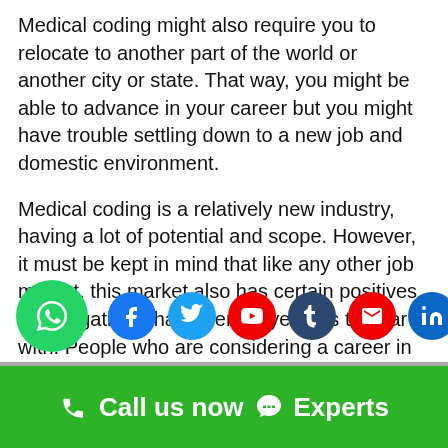Medical coding might also require you to relocate to another part of the world or another city or state. That way, you might be able to advance in your career but you might have trouble settling down to a new job and domestic environment.
Medical coding is a relatively new industry, having a lot of potential and scope. However, it must be kept in mind that like any other job market, this market also has certain positives and negatives that an employee has to bear with. People who are considering a career in this field must be aware of these and prepare themselves accordingly Medical coding training institute and placement
[Figure (infographic): WhatsApp button (green circle with phone icon) and social media icons row: Facebook (blue), Twitter (blue), YouTube (red), Tumblr (dark navy), Email (red), LinkedIn (blue), Pinterest (red)]
Call us now  Experts